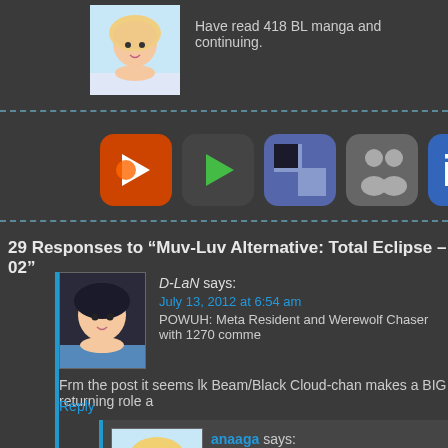Have read 418 BL manga and continuing.
[Figure (illustration): Anime avatar - blonde female character]
[Figure (illustration): Social sharing icons bar: orange icon, dark play button, blue-gray squares, gray people icon, blue 'i' icon, facebook f icon, G icon, people group icon]
29 Responses to “Muv-Luv Alternative: Total Eclipse – 02”
[Figure (illustration): Anime avatar - dark-haired female character for D-LaN]
D-LaN says:
July 13, 2012 at 6:54 am
POWUH: Meta Resident and Werewolf Chaser with 1270 comme
Frm the post it seems lk Beam/Black Cloud-chan makes a BIG returning role a
Reply
[Figure (illustration): Anime avatar - blonde female character for anaaga]
anaaga says:
July 13, 2012 at 10:17 am
POWUH: and Yaoi Fangirl~ with 2320 comments
Beam-chan is going to ruin our Summer
Reply